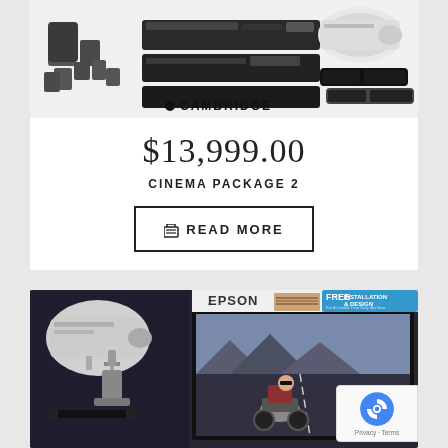[Figure (photo): Home cinema package product collage showing surround sound speakers, AV receivers, projector, 3D glasses, and Cambridge Audio logo]
$13,999.00
CINEMA PACKAGE 2
READ MORE
[Figure (photo): Epson projector package banner showing Epson logo, Strands logo, FREE INSTALLATION & DESIGN promotion badge, projector unit, ceiling mount, HDMI cable, and a screen displaying a motorcycle action scene]